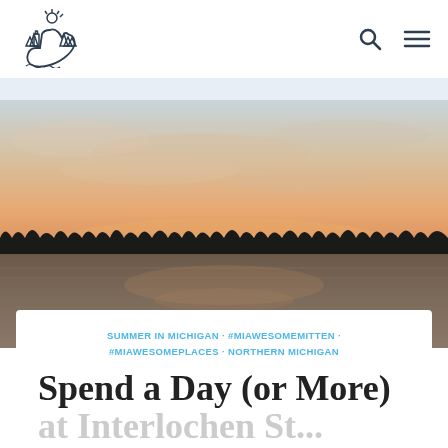[Figure (logo): Awesome Mitten logo — hand-drawn style mitten shape with a lighthouse, trees, and deer, with text AWESOME MITTEN]
[Figure (photo): Sunset over a lake in northern Michigan — warm orange and pink sky with silhouetted treeline reflected in calm water]
SUMMER IN MICHIGAN · #MIAWESOMEMITTEN · #MIAWESOMEPLACES · NORTHERN MICHIGAN
Spend a Day (or More) at Interlochen St...